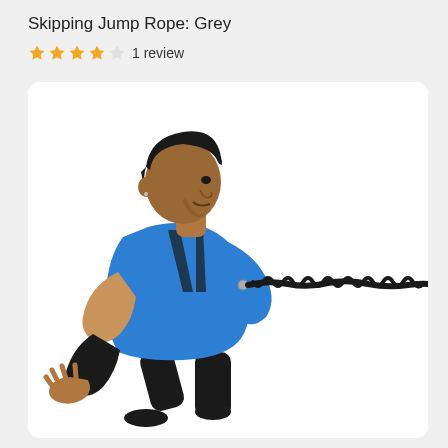Skipping Jump Rope: Grey
★★★★☆ 1 review
[Figure (photo): A man wearing a blue shirt and black pants and arm sleeve, leaning forward in a running/sprinting pose, with a black bungee resistance rope attached to a harness on his back, stretching horizontally to the right side of the image. White background inside a rounded rectangle card.]